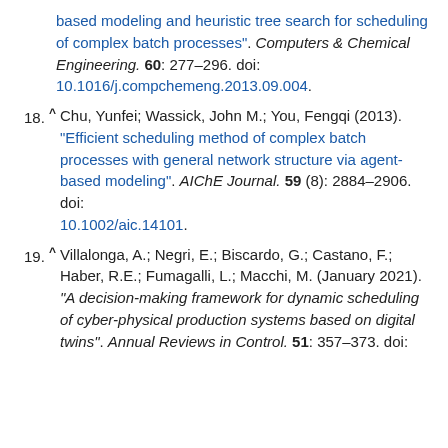based modeling and heuristic tree search for scheduling of complex batch processes". Computers & Chemical Engineering. 60: 277–296. doi: 10.1016/j.compchemeng.2013.09.004.
18. ^ Chu, Yunfei; Wassick, John M.; You, Fengqi (2013). "Efficient scheduling method of complex batch processes with general network structure via agent-based modeling". AIChE Journal. 59 (8): 2884–2906. doi: 10.1002/aic.14101.
19. ^ Villalonga, A.; Negri, E.; Biscardo, G.; Castano, F.; Haber, R.E.; Fumagalli, L.; Macchi, M. (January 2021). "A decision-making framework for dynamic scheduling of cyber-physical production systems based on digital twins". Annual Reviews in Control. 51: 357–373. doi: